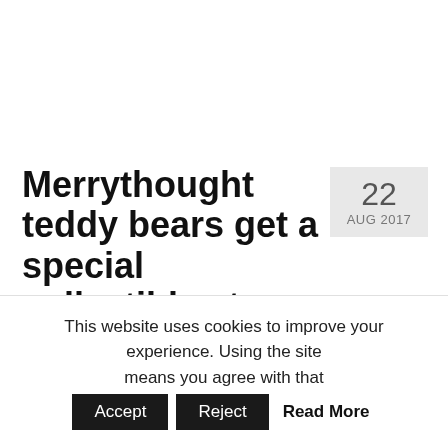Merrythought teddy bears get a special collectible stamp by Royal Mail
22 AUG 2017
posted in: Blog, Featured, News, Plush toys, Stuffed animals, Stuffed Classics, Stuffed
This website uses cookies to improve your experience. Using the site means you agree with that